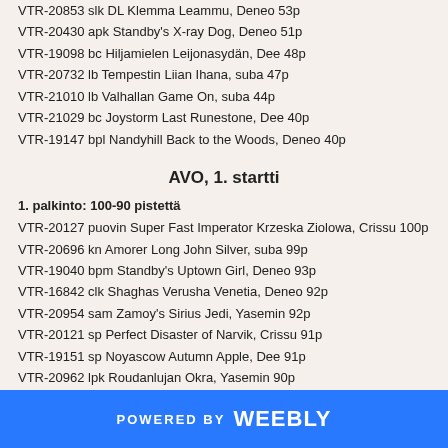VTR-20853 slk DL Klemma Leammu, Deneo 53p
VTR-20430 apk Standby's X-ray Dog, Deneo 51p
VTR-19098 bc Hiljamielen Leijonasydän, Dee 48p
VTR-20732 lb Tempestin Liian Ihana, suba 47p
VTR-21010 lb Valhallan Game On, suba 44p
VTR-21029 bc Joystorm Last Runestone, Dee 40p
VTR-19147 bpl Nandyhill Back to the Woods, Deneo 40p
AVO, 1. startti
1. palkinto: 100-90 pistettä
VTR-20127 puovin Super Fast Imperator Krzeska Ziolowa, Crissu 100p
VTR-20696 kn Amorer Long John Silver, suba 99p
VTR-19040 bpm Standby's Uptown Girl, Deneo 93p
VTR-16842 clk Shaghas Verusha Venetia, Deneo 92p
VTR-20954 sam Zamoy's Sirius Jedi, Yasemin 92p
VTR-20121 sp Perfect Disaster of Narvik, Crissu 91p
VTR-19151 sp Noyascow Autumn Apple, Dee 91p
VTR-20962 lpk Roudanlujan Okra, Yasemin 90p
2. palkinto: 89-80 pistettä
VTR-20990 sp The Antisocial of Narvik, Crissu 87p
POWERED BY weebly